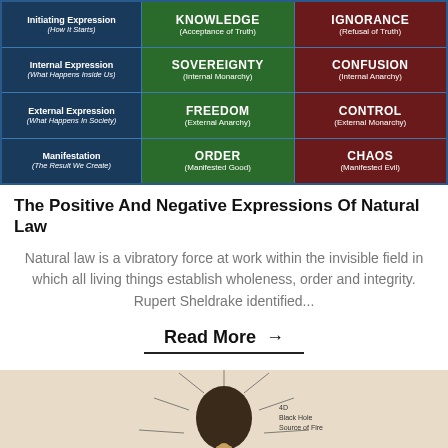[Figure (table-as-image): A table showing Positive and Negative Expressions of Natural Law with columns: label (Initiating Expression, Internal Expression, External Expression, Manifestation), green column (KNOWLEDGE, SOVEREIGNTY, FREEDOM, ORDER), red column (IGNORANCE, CONFUSION, CONTROL, CHAOS)]
The Positive And Negative Expressions Of Natural Law
Natural law is a vibratory force at work within the invisible field in which all living things establish wholeness, order and integrity. Rupert Sheldrake identified...
Read More →
[Figure (illustration): Partial illustration on beige background showing a figure with radiating lines, labeled '4D Black Hole Source of Fire' partially visible]